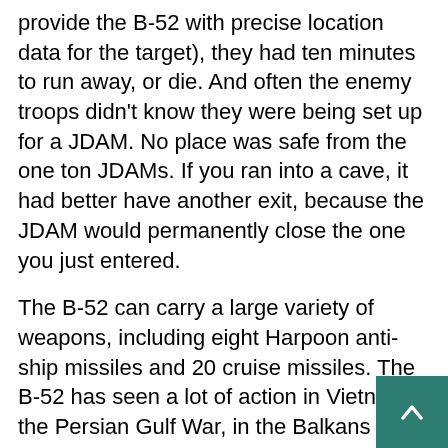provide the B-52 with precise location data for the target), they had ten minutes to run away, or die. And often the enemy troops didn't know they were being set up for a JDAM. No place was safe from the one ton JDAMs. If you ran into a cave, it had better have another exit, because the JDAM would permanently close the one you just entered.
The B-52 can carry a large variety of weapons, including eight Harpoon anti-ship missiles and 20 cruise missiles. The B-52 has seen a lot of action in Vietnam, the Persian Gulf War, in the Balkans and over Afghanistan. The B-52 prototype first flew in 1952. The last one built, a B-52H, was in late 1962.
It's a large aircraft, with a wingspan of 185 feet, a length of 159 feet and a height of 17.5 feet (to the top of the fuselage, 40.6 feet to the top of the tail). Empty weight is 86 tons. It has a crew of five (pilot, copilot, navigator, electronics warfare officer and